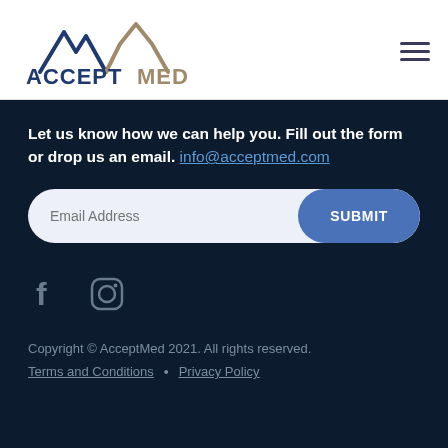[Figure (logo): AcceptMed logo with stylized mountain/heartbeat line icon and text 'ACCEPT MED']
Let us know how we can help you. Fill out the form or drop us an email. info@acceptmed.com
[Figure (other): Email address input field with SUBMIT button]
[Figure (other): Facebook and Instagram social media icons]
Copyright © AcceptMed 2021. All rights reserved. Terms and Conditions • Privacy Policy